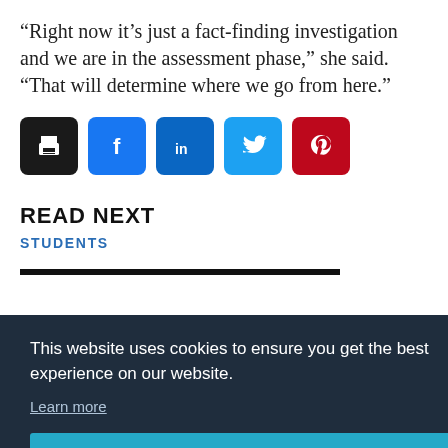“Right now it’s just a fact-finding investigation and we are in the assessment phase,” she said. “That will determine where we go from here.”
[Figure (infographic): Row of social sharing buttons: print (black), Facebook (blue), LinkedIn (dark blue), Twitter (light blue), Pinterest (red)]
READ NEXT
STUDENTS
[Figure (screenshot): Cookie consent banner overlay with dark navy background. Text: 'This website uses cookies to ensure you get the best experience on our website.' with 'Learn more' link and a 'Got it!' teal button.]
[Figure (photo): Partial photo strip at the bottom showing people, partially obscured by the cookie banner.]